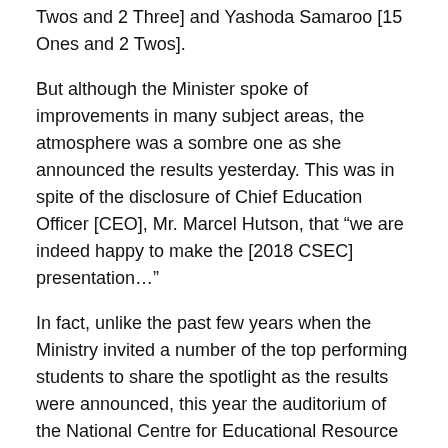Twos and 2 Three] and Yashoda Samaroo [15 Ones and 2 Twos].
But although the Minister spoke of improvements in many subject areas, the atmosphere was a sombre one as she announced the results yesterday. This was in spite of the disclosure of Chief Education Officer [CEO], Mr. Marcel Hutson, that “we are indeed happy to make the [2018 CSEC] presentation…”
In fact, unlike the past few years when the Ministry invited a number of the top performing students to share the spotlight as the results were announced, this year the auditorium of the National Centre for Educational Resource Development [NCERD] was mainly filled with education officials and members of the media eager to hear the results announcement.